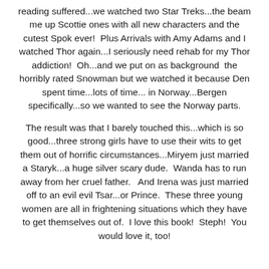reading suffered...we watched two Star Treks...the beam me up Scottie ones with all new characters and the cutest Spok ever!  Plus Arrivals with Amy Adams and I watched Thor again...I seriously need rehab for my Thor addiction!  Oh...and we put on as background  the horribly rated Snowman but we watched it because Den spent time...lots of time... in Norway...Bergen specifically...so we wanted to see the Norway parts.
The result was that I barely touched this...which is so good...three strong girls have to use their wits to get them out of horrific circumstances...Miryem just married a Staryk...a huge silver scary dude.  Wanda has to run away from her cruel father.   And Irena was just married off to an evil evil Tsar...or Prince.  These three young women are all in frightening situations which they have to get themselves out of.  I love this book!  Steph!  You would love it, too!